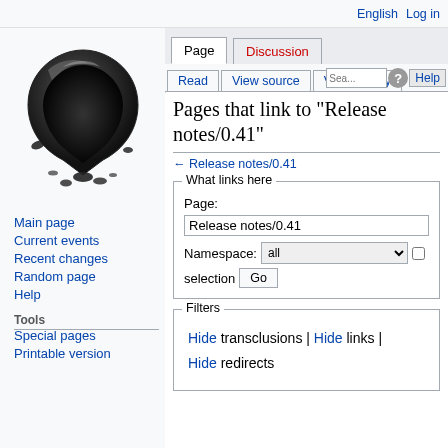English  Log in
[Figure (logo): Inkscape logo: black teardrop/triangle shape with ink drop]
Main page
Current events
Recent changes
Random page
Help
Tools
Special pages
Printable version
Pages that link to "Release notes/0.41"
← Release notes/0.41
What links here
Page: Release notes/0.41 Namespace: all  Go
Filters
Hide transclusions | Hide links | Hide redirects